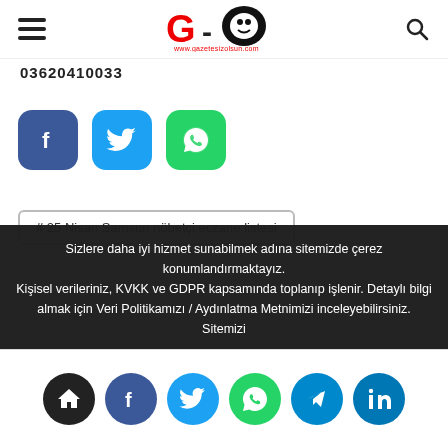gazetesizolsun.com logo header with hamburger menu and search icon
0362041033
[Figure (other): Social share buttons: Facebook (blue), Twitter (light blue), WhatsApp (green)]
# 25 Nisan Samsun nöbetçi eczane listesi
Sizlere daha iyi hizmet sunabilmek adına sitemizde çerez konumlandırmaktayız. Kişisel verileriniz, KVKK ve GDPR kapsamında toplanıp işlenir. Detaylı bilgi almak için Veri Politikamızı / Aydınlatma Metnimizi inceleyebilirsiniz. Sitemizi
[Figure (other): Bottom navigation bar with home, Facebook, Twitter, WhatsApp, Telegram, LinkedIn icons]